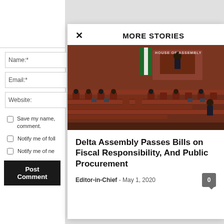Name:*
Email:*
Website:
Save my name, comment.
Notify me of foll
Notify me of ne
Post Comment
MORE STORIES
[Figure (photo): Nigerian House of Assembly chamber with legislators seated at red/mahogany desks, a speaker's podium in background, Nigerian flag visible, 'HOUSE OF ASSEMBLY' text watermark in upper right.]
Delta Assembly Passes Bills on Fiscal Responsibility, And Public Procurement
Editor-in-Chief  -  May 1, 2020